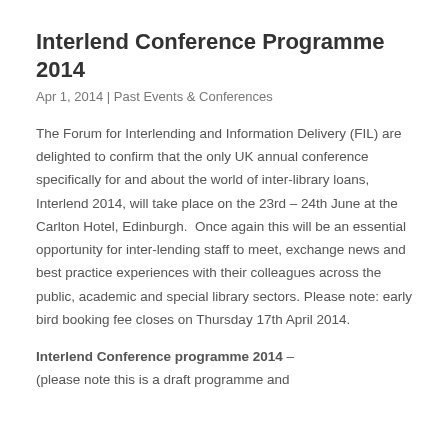Interlend Conference Programme 2014
Apr 1, 2014 | Past Events & Conferences
The Forum for Interlending and Information Delivery (FIL) are delighted to confirm that the only UK annual conference specifically for and about the world of inter-library loans, Interlend 2014, will take place on the 23rd – 24th June at the Carlton Hotel, Edinburgh.  Once again this will be an essential opportunity for inter-lending staff to meet, exchange news and best practice experiences with their colleagues across the public, academic and special library sectors. Please note: early bird booking fee closes on Thursday 17th April 2014.
Interlend Conference programme 2014 – (please note this is a draft programme and